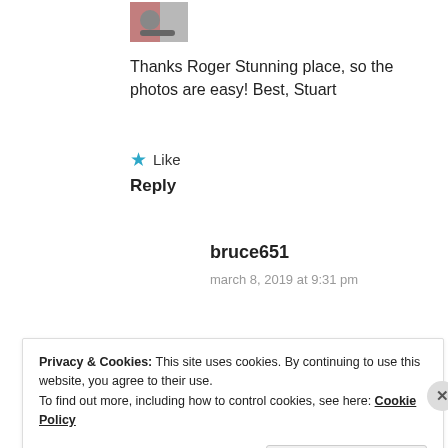[Figure (photo): Small avatar thumbnail image of a person with a bicycle, partially visible at the top of the page]
Thanks Roger Stunning place, so the photos are easy! Best, Stuart
Like
Reply
bruce651
march 8, 2019 at 9:31 pm
Privacy & Cookies: This site uses cookies. By continuing to use this website, you agree to their use.
To find out more, including how to control cookies, see here: Cookie Policy
Close and accept